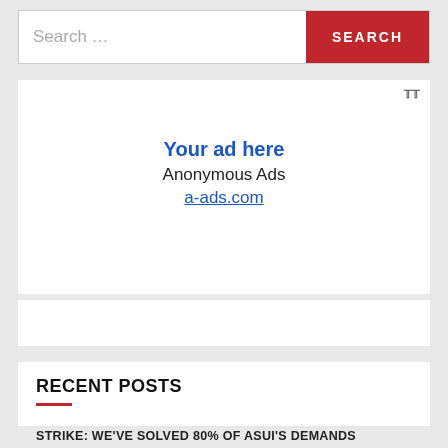Search …
[Figure (screenshot): Ad panel showing 'Your ad here — Anonymous Ads — a-ads.com']
[Figure (screenshot): Empty widget panel]
RECENT POSTS
STRIKE: WE'VE SOLVED 80% OF ASUI'S DEMANDS